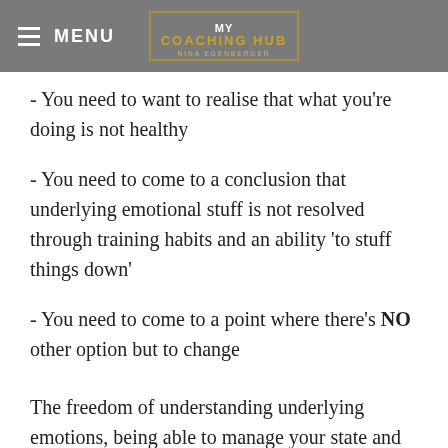≡ MENU   MY COACHING HUB NINA EGENBERGER
- You need to want to realise that what you're doing is not healthy
- You need to come to a conclusion that underlying emotional stuff is not resolved through training habits and an ability 'to stuff things down'
- You need to come to a point where there's NO other option but to change
The freedom of understanding underlying emotions, being able to manage your state and embark on a journey that's healthy and in alignment with your values is the most